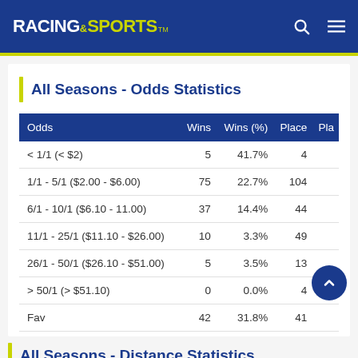RACING AND SPORTS
All Seasons - Odds Statistics
| Odds | Wins | Wins (%) | Place | Pla |
| --- | --- | --- | --- | --- |
| < 1/1 (< $2) | 5 | 41.7% | 4 |  |
| 1/1 - 5/1 ($2.00 - $6.00) | 75 | 22.7% | 104 |  |
| 6/1 - 10/1 ($6.10 - 11.00) | 37 | 14.4% | 44 |  |
| 11/1 - 25/1 ($11.10 - $26.00) | 10 | 3.3% | 49 |  |
| 26/1 - 50/1 ($26.10 - $51.00) | 5 | 3.5% | 13 |  |
| > 50/1 (> $51.10) | 0 | 0.0% | 4 |  |
| Fav | 42 | 31.8% | 41 |  |
All Seasons - Distance Statistics